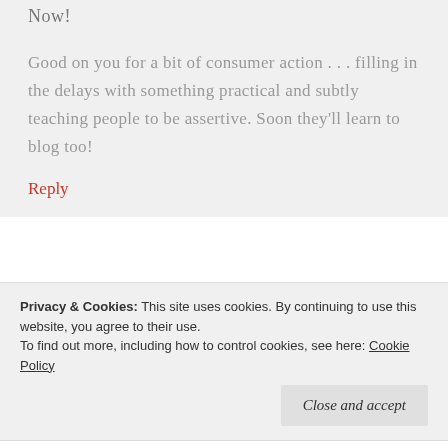When do we want them?
Now!
Good on you for a bit of consumer action . . . filling in the delays with something practical and subtly teaching people to be assertive. Soon they'll learn to blog too!
Reply
radiokate
January 4, 2012 at 8:51 pm
Privacy & Cookies: This site uses cookies. By continuing to use this website, you agree to their use. To find out more, including how to control cookies, see here: Cookie Policy
Close and accept